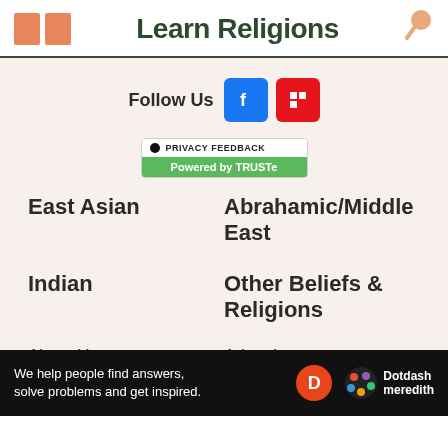Learn Religions
Follow Us
[Figure (logo): Facebook and Flipboard social media buttons]
[Figure (logo): TRUSTe Privacy Feedback badge - Powered by TRUSTe]
East Asian
Abrahamic/Middle East
Indian
Other Beliefs & Religions
About Us
Advertise
Privacy Policy
Cookie Policy
[Figure (logo): Dotdash Meredith ad bar: We help people find answers, solve problems and get inspired.]